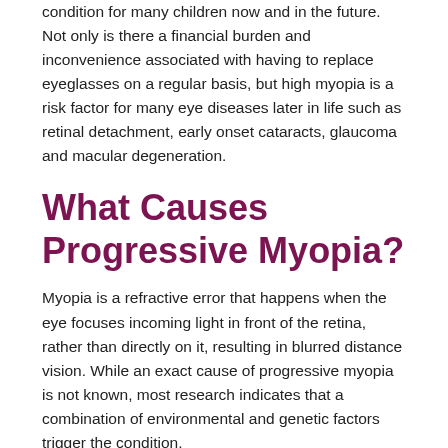condition for many children now and in the future. Not only is there a financial burden and inconvenience associated with having to replace eyeglasses on a regular basis, but high myopia is a risk factor for many eye diseases later in life such as retinal detachment, early onset cataracts, glaucoma and macular degeneration.
What Causes Progressive Myopia?
Myopia is a refractive error that happens when the eye focuses incoming light in front of the retina, rather than directly on it, resulting in blurred distance vision. While an exact cause of progressive myopia is not known, most research indicates that a combination of environmental and genetic factors trigger the condition.
First of all, there is evidence that a family history of